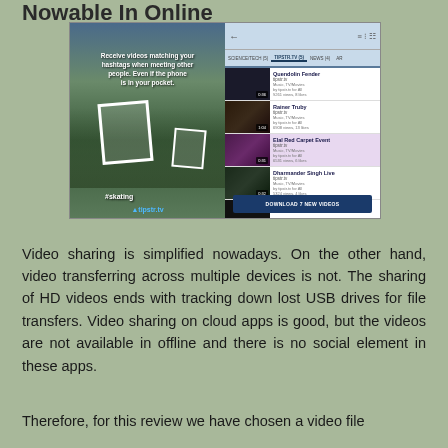Nowable In Online
[Figure (screenshot): Composite screenshot showing two panels: left panel is a photo of people in a park with hashtag overlays and text 'Receive videos matching your hashtags when meeting other people. Even if the phone is in your pocket.' with #skating tag and app logo; right panel shows a mobile app interface with video list including Quendolin Fender, Rainer Truby, Elal Red Carpet Event, Dharmander Singh Live, and sound visions 1, with tabs for SCIENCE/TECH, TIPSTR.TV, NEWS, ART and a DOWNLOAD 7 NEW VIDEOS button.]
Video sharing is simplified nowadays. On the other hand, video transferring across multiple devices is not. The sharing of HD videos ends with tracking down lost USB drives for file transfers. Video sharing on cloud apps is good, but the videos are not available in offline and there is no social element in these apps.
Therefore, for this review we have chosen a video file